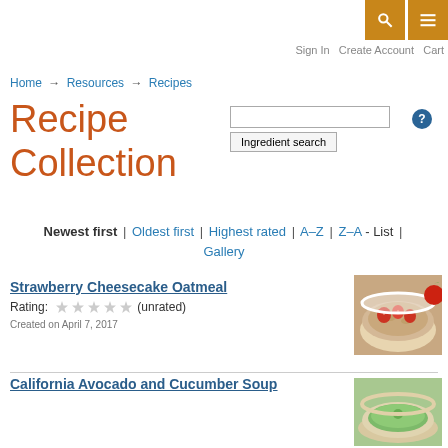Sign In  Create Account  Cart
Home → Resources → Recipes
Recipe Collection
Ingredient search (search input)
Newest first | Oldest first | Highest rated | A–Z | Z–A - List | Gallery
Strawberry Cheesecake Oatmeal – Rating: (unrated) – Created on April 7, 2017
[Figure (photo): Bowl of oatmeal with strawberries]
California Avocado and Cucumber Soup
[Figure (photo): Bowl of green avocado cucumber soup]